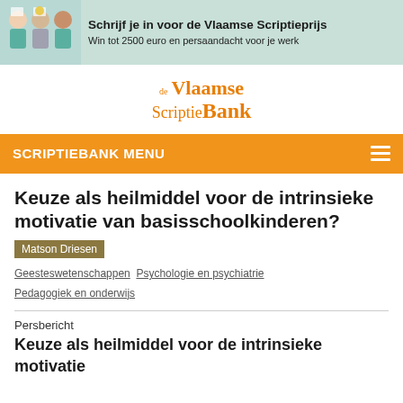[Figure (illustration): Banner advertisement for de Vlaamse Scriptieprijs with illustrated student figures on a teal background]
Schrijf je in voor de Vlaamse Scriptieprijs
Win tot 2500 euro en persaandacht voor je werk
[Figure (logo): de Vlaamse ScriptieBank logo in orange serif font]
SCRIPTIEBANK MENU
Keuze als heilmiddel voor de intrinsieke motivatie van basisschoolkinderen?
Matson Driesen
Geesteswetenschappen  Psychologie en psychiatrie  Pedagogiek en onderwijs
Persbericht
Keuze als heilmiddel voor de intrinsieke motivatie